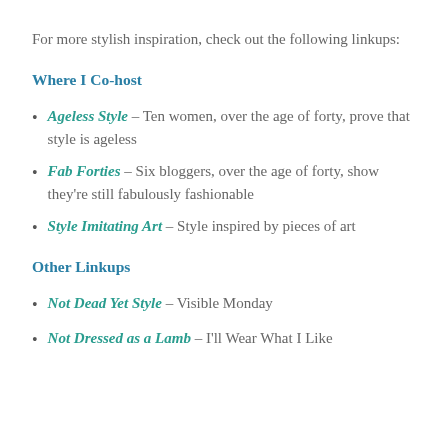For more stylish inspiration, check out the following linkups:
Where I Co-host
Ageless Style – Ten women, over the age of forty, prove that style is ageless
Fab Forties – Six bloggers, over the age of forty, show they're still fabulously fashionable
Style Imitating Art – Style inspired by pieces of art
Other Linkups
Not Dead Yet Style – Visible Monday
Not Dressed as a Lamb – I'll Wear What I Like